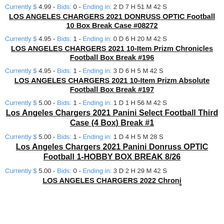Currently $ 4.99 - Bids: 0 - Ending in: 2 D 7 H 51 M 42 S
LOS ANGELES CHARGERS 2021 DONRUSS OPTIC Football 10 Box Break Case #08272
Currently $ 4.95 - Bids: 1 - Ending in: 0 D 6 H 20 M 42 S
LOS ANGELES CHARGERS 2021 10-Item Prizm Chronicles Football Box Break #196
Currently $ 4.95 - Bids: 1 - Ending in: 3 D 6 H 5 M 42 S
LOS ANGELES CHARGERS 2021 10-Item Prizm Absolute Football Box Break #197
Currently $ 5.00 - Bids: 1 - Ending in: 1 D 1 H 56 M 42 S
Los Angeles Chargers 2021 Panini Select Football Third Case (4 Box) Break #1
Currently $ 5.00 - Bids: 1 - Ending in: 1 D 4 H 5 M 28 S
Los Angeles Chargers 2021 Panini Donruss OPTIC Football 1-HOBBY BOX BREAK 8/26
Currently $ 5.00 - Bids: 0 - Ending in: 3 D 2 H 29 M 42 S
LOS ANGELES CHARGERS 2022 Chronicles...